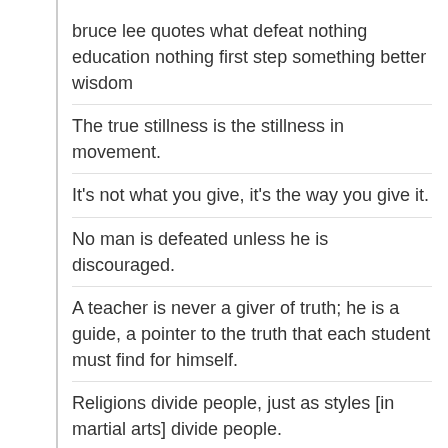bruce lee quotes what defeat nothing education nothing first step something better wisdom
The true stillness is the stillness in movement.
It's not what you give, it's the way you give it.
No man is defeated unless he is discouraged.
A teacher is never a giver of truth; he is a guide, a pointer to the truth that each student must find for himself.
Religions divide people, just as styles [in martial arts] divide people.
Discard all thoughts of reward, all hopes of praise and fears of blame, all awareness of one's bodily. And,